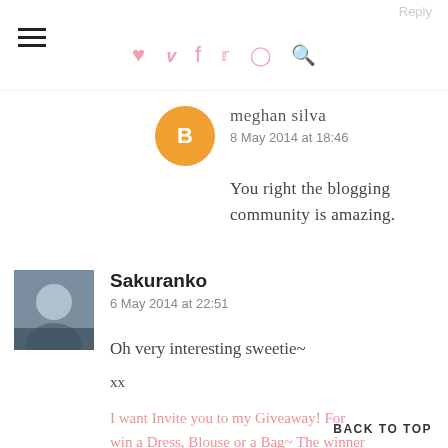Navigation header with hamburger menu and social icons (heart, pinterest, facebook, twitter, instagram, search)
Reply
meghan silva
8 May 2014 at 18:46
You right the blogging community is amazing.
Sakuranko
6 May 2014 at 22:51
Oh very interesting sweetie~
xx
I want Invite you to my Giveaway! For win a Dress, Blouse or a Bag~ The winner choose the prize!
BACK TO TOP